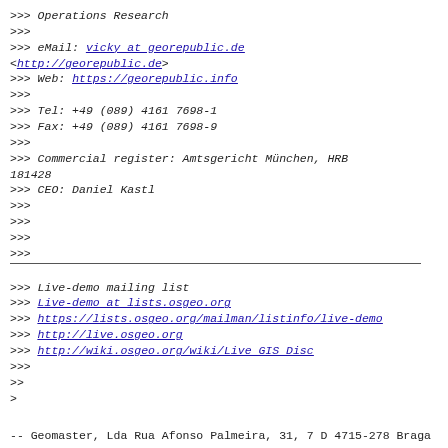>>> Operations Research
>>>
>>> eMail: vicky at georepublic.de <http://georepublic.de>
>>> Web: https://georepublic.info
>>>
>>> Tel: +49 (089) 4161 7698-1
>>> Fax: +49 (089) 4161 7698-9
>>>
>>> Commercial register: Amtsgericht München, HRB 181428
>>> CEO: Daniel Kastl
>>>
>>>
>>>
>>>
>>> Live-demo mailing list
>>> Live-demo at lists.osgeo.org
>>> https://lists.osgeo.org/mailman/listinfo/live-demo
>>> http://live.osgeo.org
>>> http://wiki.osgeo.org/wiki/Live GIS Disc
>>>
>>
>
--
Geomaster, Lda
Rua Afonso Palmeira, 31, 7 D
4715-278 Braga
NIF 510906109